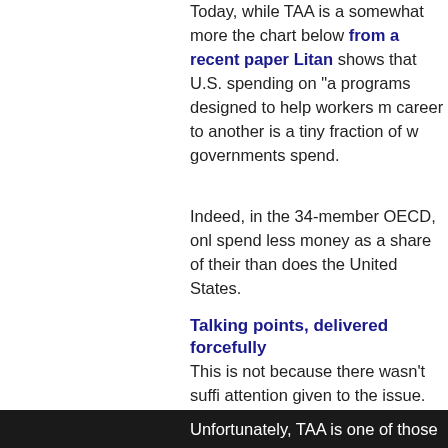Today, while TAA is a somewhat more the chart below from a recent paper Litan shows that U.S. spending on "a programs designed to help workers m career to another is a tiny fraction of w governments spend.
Indeed, in the 34-member OECD, onl spend less money as a share of their than does the United States.
Talking points, delivered forcefully
This is not because there wasn't suffi attention given to the issue.
In fact, over the past several decades trade agreement was on the horizon i Congress, legislators dutifully promis long last" pay real attention to the iss adjustment measures.
Unfortunately, TAA is one of those